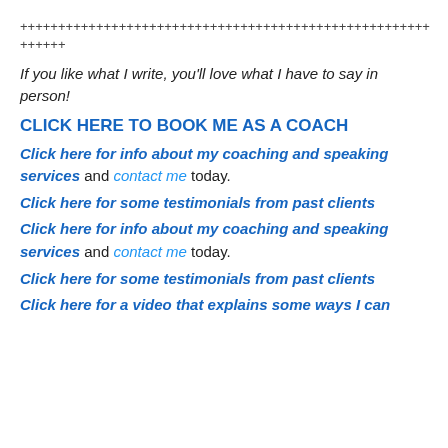++++++++++++++++++++++++++++++++++++++++++++++++++++++
If you like what I write, you'll love what I have to say in person!
CLICK HERE TO BOOK ME AS A COACH
Click here for info about my coaching and speaking services and contact me today.
Click here for some testimonials from past clients
Click here for info about my coaching and speaking services and contact me today.
Click here for some testimonials from past clients
Click here for a video that explains some ways I can